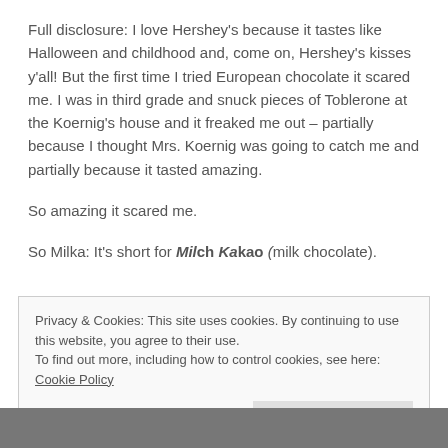Full disclosure: I love Hershey's because it tastes like Halloween and childhood and, come on, Hershey's kisses y'all! But the first time I tried European chocolate it scared me. I was in third grade and snuck pieces of Toblerone at the Koernig's house and it freaked me out – partially because I thought Mrs. Koernig was going to catch me and partially because it tasted amazing.
So amazing it scared me.
So Milka: It's short for Milch Kakao (milk chocolate).
Privacy & Cookies: This site uses cookies. By continuing to use this website, you agree to their use.
To find out more, including how to control cookies, see here: Cookie Policy